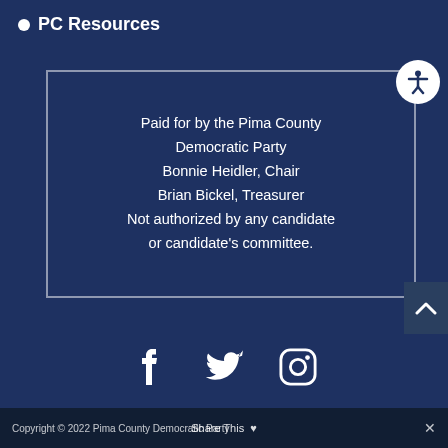PC Resources
Paid for by the Pima County Democratic Party
Bonnie Heidler, Chair
Brian Bickel, Treasurer
Not authorized by any candidate or candidate's committee.
Copyright © 2022 Pima County Democratic Party